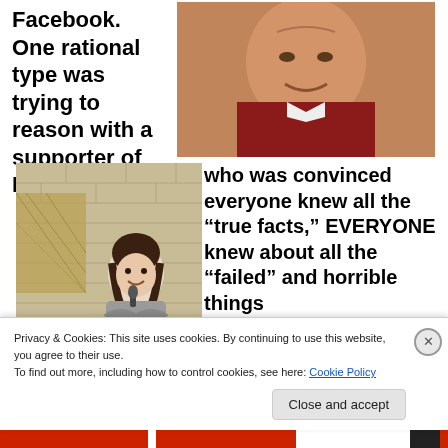Facebook. One rational type was trying to reason with a supporter of Mitt Romney,
[Figure (photo): Close-up photo of an elderly person wearing a red garment]
[Figure (photo): Woman standing near a microphone in an indoor setting with brick wall backdrop]
who was convinced everyone knew all the “true facts,” EVERYONE knew about all the “failed” and horrible things
Privacy & Cookies: This site uses cookies. By continuing to use this website, you agree to their use.
To find out more, including how to control cookies, see here: Cookie Policy
Close and accept